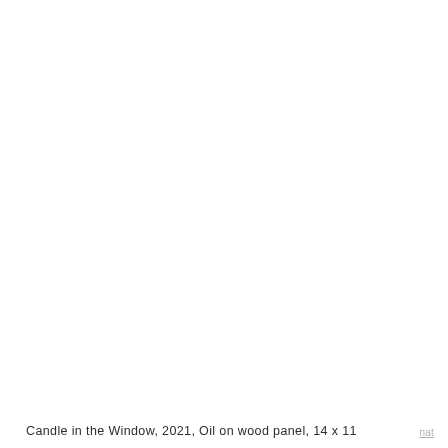[Figure (photo): Blank white area representing an artwork image (painting not visible in scan)]
Candle in the Window, 2021, Oil on wood panel, 14 x 11
nat